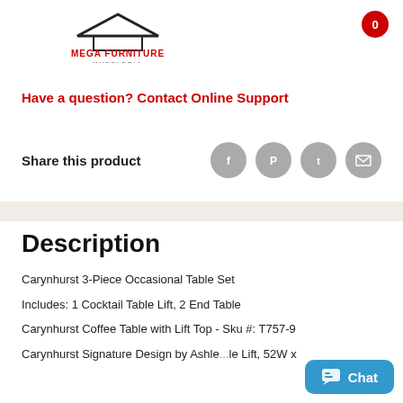[Figure (logo): Mega Furniture Muebleria logo with house/roof icon and red brand name text]
Have a question? Contact Online Support
Share this product
Description
Carynhurst 3-Piece Occasional Table Set
Includes: 1 Cocktail Table Lift, 2 End Table
Carynhurst Coffee Table with Lift Top - Sku #: T757-9
Carynhurst Signature Design by Ashle... le Lift, 52W x